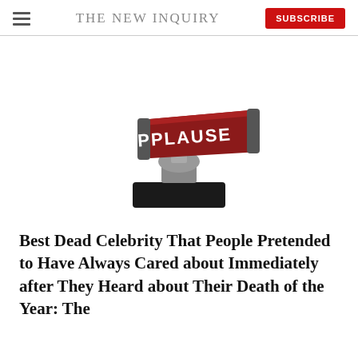THE NEW INQUIRY
[Figure (photo): An APPLAUSE sign — a dark red backlit rectangular sign reading 'APPLAUSE' in white bold letters — mounted on a chrome pedestal with a black rectangular base, similar to a trophy or award prop.]
Best Dead Celebrity That People Pretended to Have Always Cared about Immediately after They Heard about Their Death of the Year: The